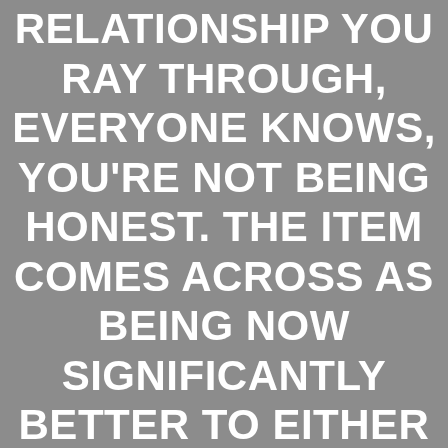RELATIONSHIP YOU RAY THROUGH, EVERYONE KNOWS, YOU'RE NOT BEING HONEST. THE ITEM COMES ACROSS AS BEING NOW SIGNIFICANTLY BETTER TO EITHER SERIOUSLY BECOME INSIDE THE STAGE OR SIMPLY PROCEED SOMEWHERE ELSE. IT'UTES ONES